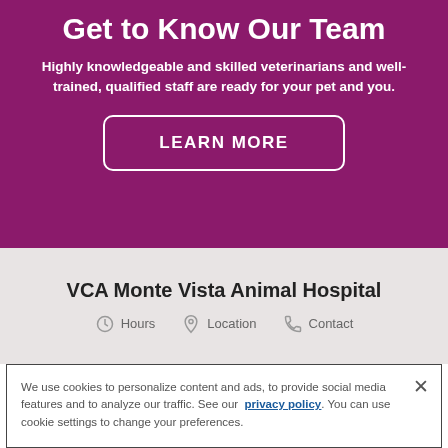Get to Know Our Team
Highly knowledgeable and skilled veterinarians and well-trained, qualified staff are ready for your pet and you.
LEARN MORE
VCA Monte Vista Animal Hospital
Hours   Location   Contact
We use cookies to personalize content and ads, to provide social media features and to analyze our traffic. See our privacy policy. You can use cookie settings to change your preferences.
Cookies Settings